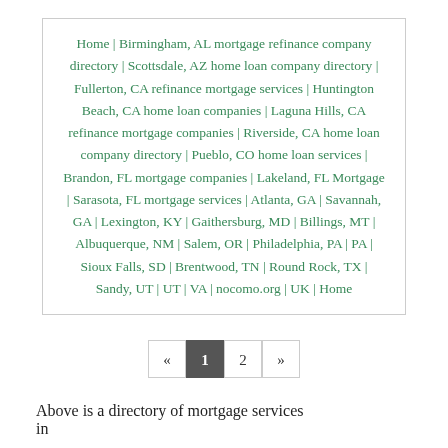Home | Birmingham, AL mortgage refinance company directory | Scottsdale, AZ home loan company directory | Fullerton, CA refinance mortgage services | Huntington Beach, CA home loan companies | Laguna Hills, CA refinance mortgage companies | Riverside, CA home loan company directory | Pueblo, CO home loan services | Brandon, FL mortgage companies | Lakeland, FL Mortgage | Sarasota, FL mortgage services | Atlanta, GA | Savannah, GA | Lexington, KY | Gaithersburg, MD | Billings, MT | Albuquerque, NM | Salem, OR | Philadelphia, PA | PA | Sioux Falls, SD | Brentwood, TN | Round Rock, TX | Sandy, UT | UT | VA | nocomo.org | UK | Home
« 1 2 »
Above is a directory of mortgage services in